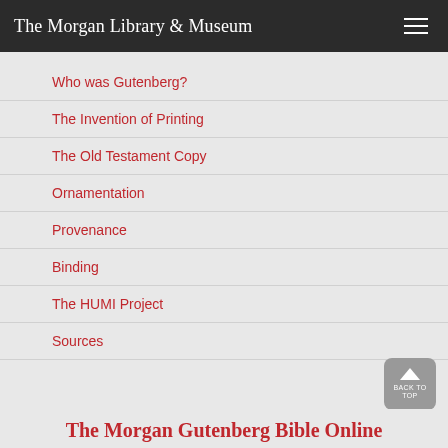The Morgan Library & Museum
Who was Gutenberg?
The Invention of Printing
The Old Testament Copy
Ornamentation
Provenance
Binding
The HUMI Project
Sources
The Morgan Gutenberg Bible Online